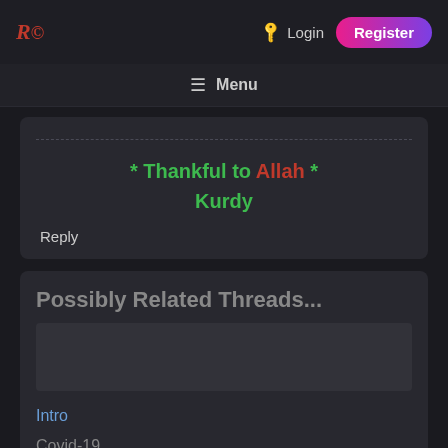Login  Register
≡ Menu
* Thankful to Allah * Kurdy
Reply
Possibly Related Threads...
Intro
Covid-19